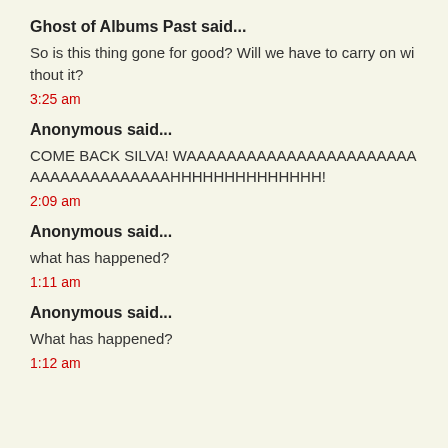Ghost of Albums Past said...
So is this thing gone for good? Will we have to carry on without it?
3:25 am
Anonymous said...
COME BACK SILVA! WAAAAAAAAAAAAAAAAAAAAAAAAAAAAAAAAAAAAAHHHHHHHHHHHHHH!
2:09 am
Anonymous said...
what has happened?
1:11 am
Anonymous said...
What has happened?
1:12 am